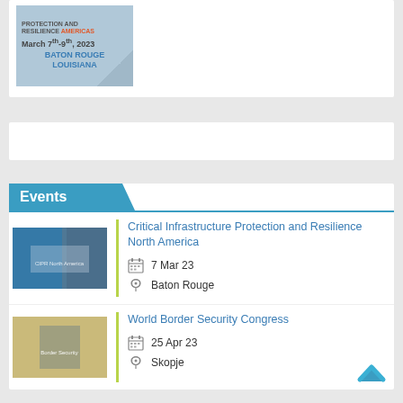[Figure (illustration): Promotional banner for Critical Infrastructure Protection and Resilience Americas event, March 7th-9th 2023, Baton Rouge Louisiana, with blue tones and triangular graphic element]
Events
[Figure (photo): Thumbnail image for Critical Infrastructure Protection and Resilience North America event]
Critical Infrastructure Protection and Resilience North America
7 Mar 23
Baton Rouge
[Figure (photo): Thumbnail image for World Border Security Congress event]
World Border Security Congress
25 Apr 23
Skopje